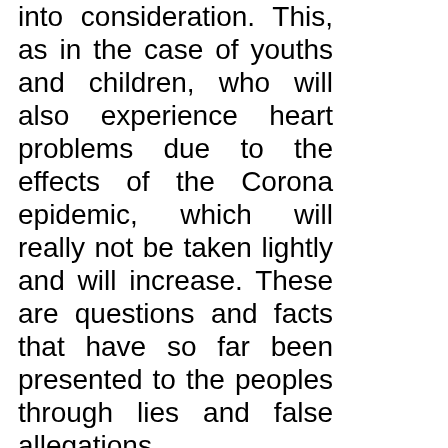into consideration. This, as in the case of youths and children, who will also experience heart problems due to the effects of the Corona epidemic, which will really not be taken lightly and will increase. These are questions and facts that have so far been presented to the peoples through lies and false allegations.